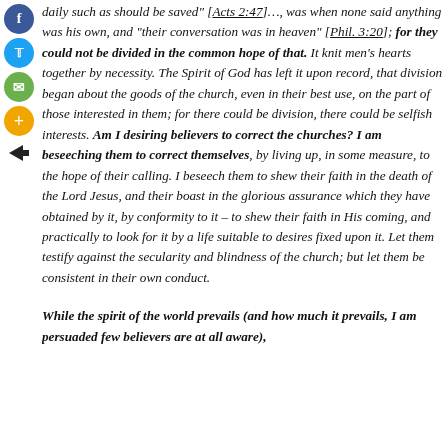daily such as should be saved" [Acts 2:47]…, was when none said anything was his own, and "their conversation was in heaven" [Phil. 3:20]; for they could not be divided in the common hope of that. It knit men's hearts together by necessity. The Spirit of God has left it upon record, that division began about the goods of the church, even in their best use, on the part of those interested in them; for there could be division, there could be selfish interests. Am I desiring believers to correct the churches? I am beseeching them to correct themselves, by living up, in some measure, to the hope of their calling. I beseech them to shew their faith in the death of the Lord Jesus, and their boast in the glorious assurance which they have obtained by it, by conformity to it – to shew their faith in His coming, and practically to look for it by a life suitable to desires fixed upon it. Let them testify against the secularity and blindness of the church; but let them be consistent in their own conduct.
While the spirit of the world prevails (and how much it prevails, I am persuaded few believers are at all aware),